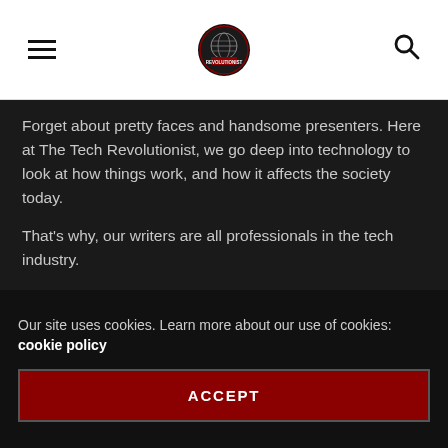[hamburger menu] [The Tech Revolutionist logo] [search icon]
Forget about pretty faces and handsome presenters. Here at The Tech Revolutionist, we go deep into technology to look at how things work, and how it affects the society today.
That's why, our writers are all professionals in the tech industry.
"Think Tech. Speak Tech. Breathe Tech"
CATEGORIES
Our site uses cookies. Learn more about our use of cookies: cookie policy
ACCEPT